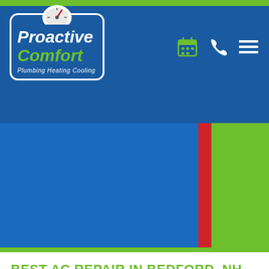[Figure (logo): Proactive Comfort logo with gauge icon, company name in white and green italic text, tagline 'Plumbing Heating Cooling' on blue background with white border]
[Figure (infographic): Hero section with blue background, vertical red bar, and green right panel]
BEST AC REPAIR IN BEDFORD, NH